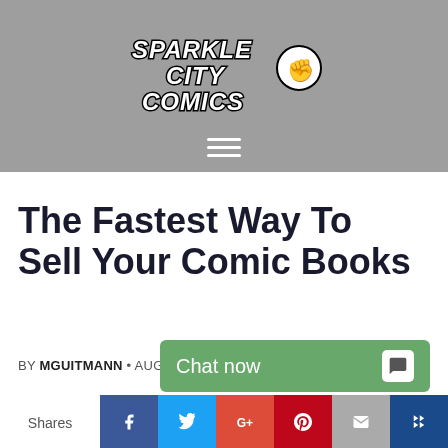[Figure (logo): Sparkle City Comics logo in bubble/graffiti style text on grey background]
The Fastest Way To Sell Your Comic Books
BY MGUITMANN • AUGU...
Chat now
Shares